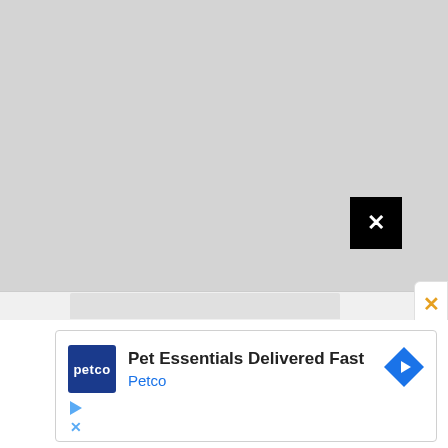[Figure (screenshot): Gray placeholder/loading area for video or image content with a black close button (X) in the lower-right area of the gray region]
[Figure (screenshot): Browser tab bar with a light gray tab visible, and an orange/gold X close button in a white rounded box at the top-right corner]
[Figure (screenshot): Petco advertisement banner: Petco logo (white 'petco' text on dark blue background), bold text 'Pet Essentials Delivered Fast', blue subtitle 'Petco', blue diamond navigation icon, play button icon, and dismiss X icon]